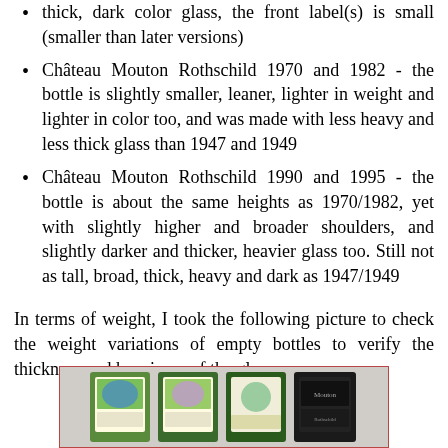thick, dark color glass, the front label(s) is small (smaller than later versions)
Château Mouton Rothschild 1970 and 1982 - the bottle is slightly smaller, leaner, lighter in weight and lighter in color too, and was made with less heavy and less thick glass than 1947 and 1949
Château Mouton Rothschild 1990 and 1995 - the bottle is about the same heights as 1970/1982, yet with slightly higher and broader shoulders, and slightly darker and thicker, heavier glass too. Still not as tall, broad, thick, heavy and dark as 1947/1949
In terms of weight, I took the following picture to check the weight variations of empty bottles to verify the thickness and heaviness of the glass.
[Figure (photo): Photo of the tops of several Château Mouton Rothschild wine bottles lined up, showing their labels and capsules, used to compare bottle weight and glass thickness.]